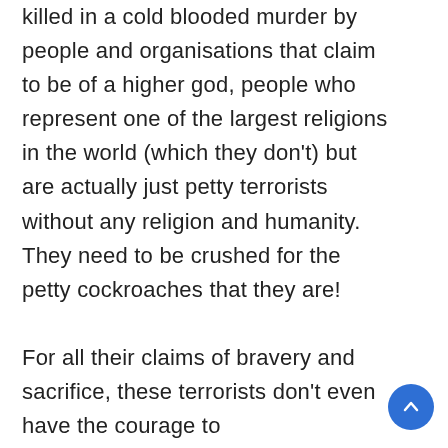killed in a cold blooded murder by people and organisations that claim to be of a higher god, people who represent one of the largest religions in the world (which they don't) but are actually just petty terrorists without any religion and humanity. They need to be crushed for the petty cockroaches that they are!

For all their claims of bravery and sacrifice, these terrorists don't even have the courage to